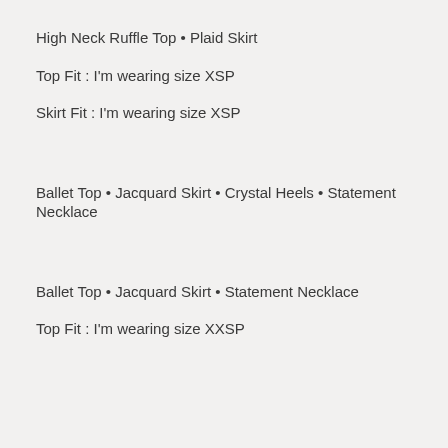High Neck Ruffle Top • Plaid Skirt
Top Fit : I'm wearing size XSP
Skirt Fit : I'm wearing size XSP
Ballet Top • Jacquard Skirt • Crystal Heels • Statement Necklace
Ballet Top • Jacquard Skirt • Statement Necklace
Top Fit : I'm wearing size XXSP